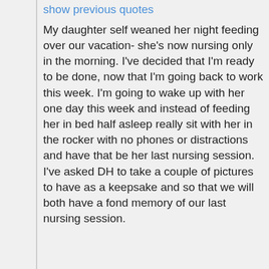show previous quotes
My daughter self weaned her night feeding over our vacation- she's now nursing only in the morning. I've decided that I'm ready to be done, now that I'm going back to work this week. I'm going to wake up with her one day this week and instead of feeding her in bed half asleep really sit with her in the rocker with no phones or distractions and have that be her last nursing session. I've asked DH to take a couple of pictures to have as a keepsake and so that we will both have a fond memory of our last nursing session.